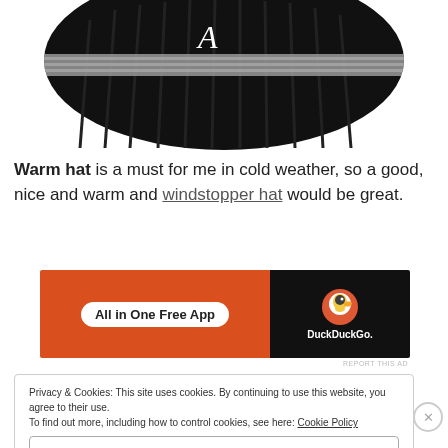[Figure (photo): Black knit beanie hat with white letter A embroidered on it and a gray stripe, photographed from above on a white background.]
Warm hat is a must for me in cold weather, so a good, nice and warm and windstopper hat would be great.
[Figure (other): Advertisement banner for DuckDuckGo 'All in One Free App'. Left side is orange-red with a white pill button saying 'All in One Free App'. Right side is black with the DuckDuckGo logo duck and the text 'DuckDuckGo.']
Privacy & Cookies: This site uses cookies. By continuing to use this website, you agree to their use.
To find out more, including how to control cookies, see here: Cookie Policy
Close and accept